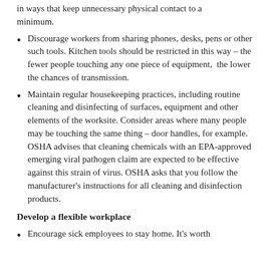in ways that keep unnecessary physical contact to a minimum.
Discourage workers from sharing phones, desks, pens or other such tools. Kitchen tools should be restricted in this way – the fewer people touching any one piece of equipment,  the lower the chances of transmission.
Maintain regular housekeeping practices, including routine cleaning and disinfecting of surfaces, equipment and other elements of the worksite. Consider areas where many people may be touching the same thing – door handles, for example. OSHA advises that cleaning chemicals with an EPA-approved emerging viral pathogen claim are expected to be effective against this strain of virus. OSHA asks that you follow the manufacturer's instructions for all cleaning and disinfection products.
Develop a flexible workplace
Encourage sick employees to stay home. It's worth